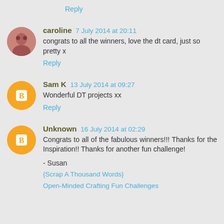Reply
caroline 7 July 2014 at 20:11
congrats to all the winners, love the dt card, just so pretty x
Reply
Sam K 13 July 2014 at 09:27
Wonderful DT projects xx
Reply
Unknown 16 July 2014 at 02:29
Congrats to all of the fabulous winners!!! Thanks for the Inspiration!! Thanks for another fun challenge!
- Susan
{Scrap A Thousand Words}
Open-Minded Crafting Fun Challenges